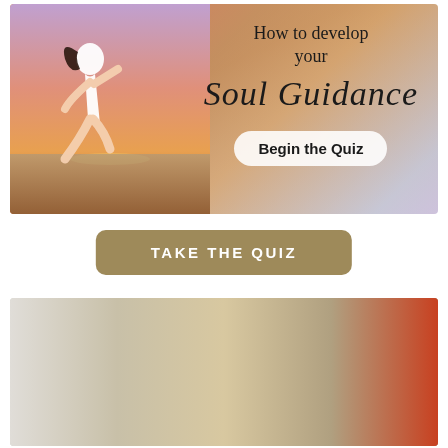[Figure (illustration): Sunset beach scene with a woman running/jumping joyfully on the beach. Text overlay reads 'How to develop your Soul Guidance' with a 'Begin the Quiz' button.]
TAKE THE QUIZ
[Figure (photo): Two young women smiling and arranging orange tulips in a wicker basket, in a shop or home setting with shelves in the background.]